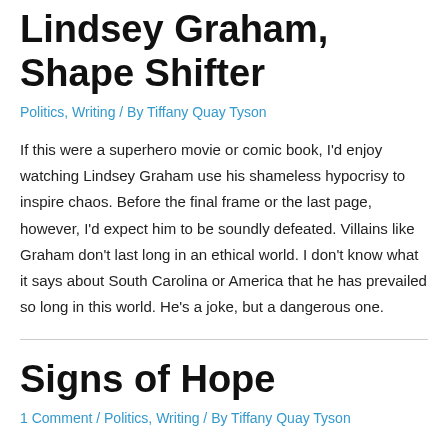Lindsey Graham, Shape Shifter
Politics, Writing / By Tiffany Quay Tyson
If this were a superhero movie or comic book, I'd enjoy watching Lindsey Graham use his shameless hypocrisy to inspire chaos. Before the final frame or the last page, however, I'd expect him to be soundly defeated. Villains like Graham don't last long in an ethical world. I don't know what it says about South Carolina or America that he has prevailed so long in this world. He's a joke, but a dangerous one.
Signs of Hope
1 Comment / Politics, Writing / By Tiffany Quay Tyson
Almost two weeks ago, our cat, Jabberwocky, lost the ability to